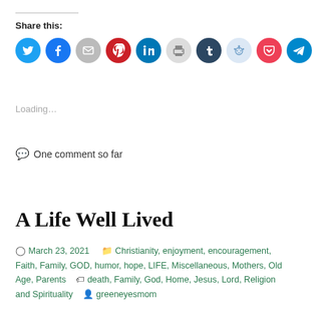Share this:
[Figure (infographic): Row of 11 social media share icon circles: Twitter (blue), Facebook (blue), Email (grey), Pinterest (red), LinkedIn (blue), Print (light grey), Tumblr (dark blue), Reddit (light blue), Pocket (red), Telegram (blue), WhatsApp (green)]
Loading...
One comment so far
A Life Well Lived
March 23, 2021   Christianity, enjoyment, encouragement, Faith, Family, GOD, humor, hope, LIFE, Miscellaneous, Mothers, Old Age, Parents   death, Family, God, Home, Jesus, Lord, Religion and Spirituality   greeneyesmom